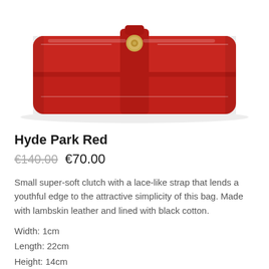[Figure (photo): Red lambskin leather clutch bag with gold button clasp and lace-like strap, viewed from above against a white background.]
Hyde Park Red
€140.00  €70.00
Small super-soft clutch with a lace-like strap that lends a youthful edge to the attractive simplicity of this bag. Made with lambskin leather and lined with black cotton.
Width: 1cm
Length: 22cm
Height: 14cm